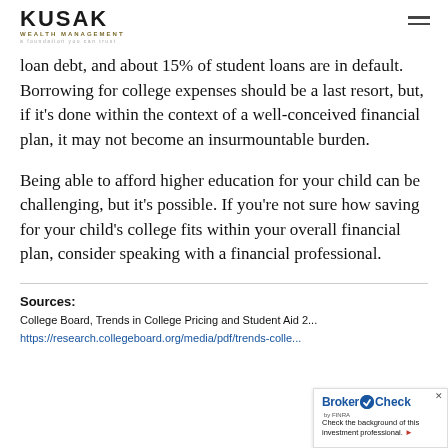KUSAK WEALTH MANAGEMENT — A foundation You Can Trust
loan debt, and about 15% of student loans are in default. Borrowing for college expenses should be a last resort, but, if it's done within the context of a well-conceived financial plan, it may not become an insurmountable burden.
Being able to afford higher education for your child can be challenging, but it's possible. If you're not sure how saving for your child's college fits within your overall financial plan, consider speaking with a financial professional.
Sources:
College Board, Trends in College Pricing and Student Aid 2...
https://research.collegeboard.org/media/pdf/trends-colle...